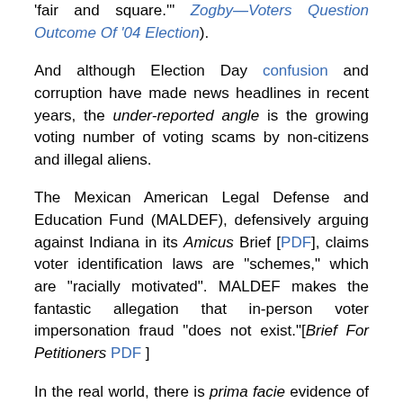'fair and square.'" Zogby—Voters Question Outcome Of '04 Election).
And although Election Day confusion and corruption have made news headlines in recent years, the under-reported angle is the growing voting number of voting scams by non-citizens and illegal aliens.
The Mexican American Legal Defense and Education Fund (MALDEF), defensively arguing against Indiana in its Amicus Brief [PDF], claims voter identification laws are "schemes," which are "racially motivated". MALDEF makes the fantastic allegation that in-person voter impersonation fraud "does not exist."[Brief For Petitioners PDF ]
In the real world, there is prima facie evidence of voting fraud by illegal aliens:
The Wall Street Journal reported that "the man